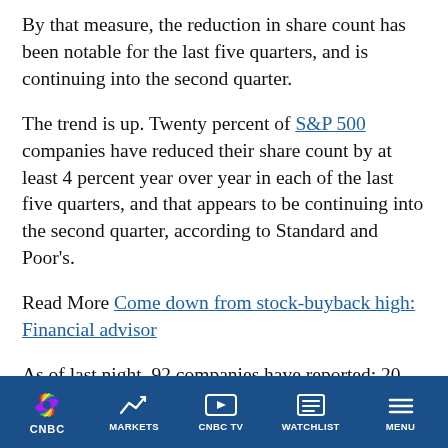By that measure, the reduction in share count has been notable for the last five quarters, and is continuing into the second quarter.
The trend is up. Twenty percent of S&P 500 companies have reduced their share count by at least 4 percent year over year in each of the last five quarters, and that appears to be continuing into the second quarter, according to Standard and Poor’s.
Read More Come down from stock-buyback high: Financial advisor
As of last night, 92 companies have reported: 20
CNBC | MARKETS | CNBC TV | WATCHLIST | MENU